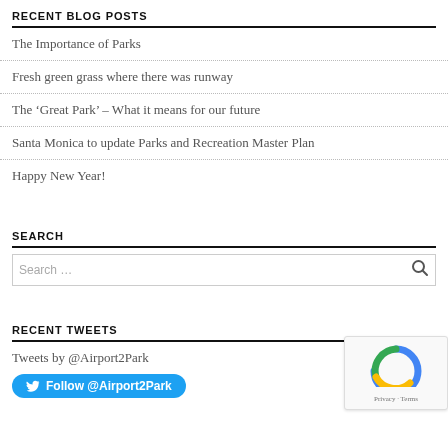RECENT BLOG POSTS
The Importance of Parks
Fresh green grass where there was runway
The ‘Great Park’ – What it means for our future
Santa Monica to update Parks and Recreation Master Plan
Happy New Year!
SEARCH
Search …
RECENT TWEETS
Tweets by @Airport2Park
Follow @Airport2Park